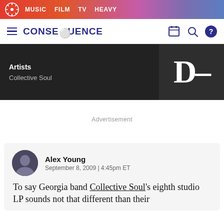MUSIC  FILM  TV  HEAVY
CONSEQUENCE
Artists
Collective Soul
D-
Advertisement
Alex Young
September 8, 2009 | 4:45pm ET
To say Georgia band Collective Soul's eighth studio LP sounds not that different than their